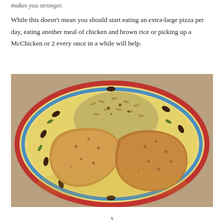makes you stronger.
While this doesn't mean you should start eating an extra-large pizza per day, eating another meal of chicken and brown rice or picking up a McChicken or 2 every once in a while will help.
[Figure (photo): A decorated ceramic plate with an olive-branch pattern (yellow, blue, and red rim bands) holding two pieces of seasoned baked chicken and a mound of brown rice, photographed from above on a tan countertop.]
x